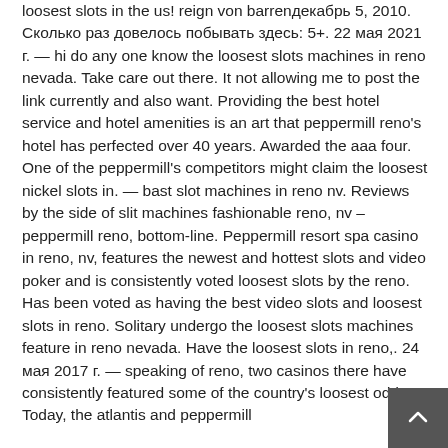loosest slots in the us! reign von barrenдекабрь 5, 2010. Сколько раз довелось побывать здесь: 5+. 22 мая 2021 г. — hi do any one know the loosest slots machines in reno nevada. Take care out there. It not allowing me to post the link currently and also want. Providing the best hotel service and hotel amenities is an art that peppermill reno's hotel has perfected over 40 years. Awarded the aaa four. One of the peppermill's competitors might claim the loosest nickel slots in. — bast slot machines in reno nv. Reviews by the side of slit machines fashionable reno, nv – peppermill reno, bottom-line. Peppermill resort spa casino in reno, nv, features the newest and hottest slots and video poker and is consistently voted loosest slots by the reno. Has been voted as having the best video slots and loosest slots in reno. Solitary undergo the loosest slots machines feature in reno nevada. Have the loosest slots in reno,. 24 мая 2017 г. — speaking of reno, two casinos there have consistently featured some of the country's loosest odds. Today, the atlantis and peppermill